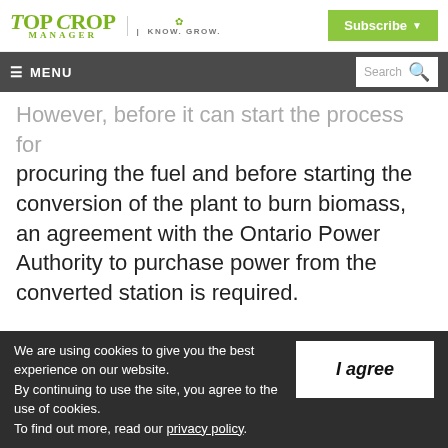Top Crop Manager | Know. Grow. | Subscribe
≡ MENU  Search
However, before it can start the process for procuring the fuel and before starting the conversion of the plant to burn biomass, an agreement with the Ontario Power Authority to purchase power from the converted station is required.
We are using cookies to give you the best experience on our website.
By continuing to use the site, you agree to the use of cookies.
To find out more, read our privacy policy.
I agree